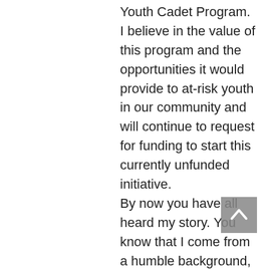Youth Cadet Program. I believe in the value of this program and the opportunities it would provide to at-risk youth in our community and will continue to request for funding to start this currently unfunded initiative. By now you have all heard my story. You know that I come from a humble background, where poverty, crime, and violence were a daily reality. The same type of crime and violence that I see today playing out in our Athens communities. My past personal experiences and my more than 34 years of experience in policing have taught me the value of units such as the DTF and that they are our best opportunity to combat drug-related crime and violence in order to keep our neighborhoods